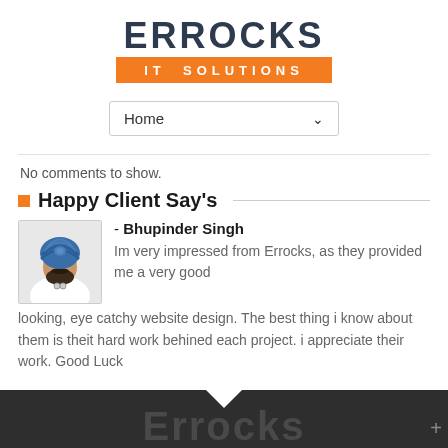[Figure (logo): Errocks IT Solutions logo with orange bar]
[Figure (screenshot): Navigation dropdown showing Home with chevron]
No comments to show.
Happy Client Say's
[Figure (photo): Portrait photo of Bhupinder Singh wearing blue turban]
- Bhupinder Singh
Im very impressed from Errocks, as they provided me a very good looking, eye catchy website design. The best thing i know about them is theit hard work behined each project. i appreciate their work. Good Luck
Errocks